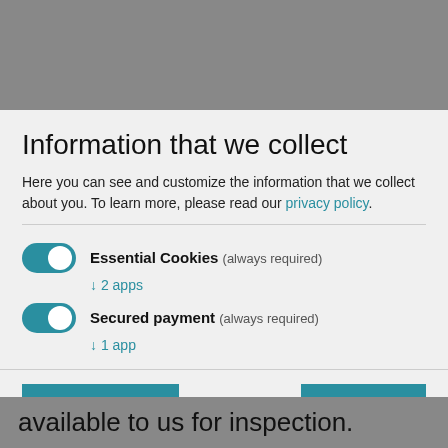Information that we collect
Here you can see and customize the information that we collect about you. To learn more, please read our privacy policy.
Essential Cookies (always required) ↓ 2 apps
Secured payment (always required) ↓ 1 app
Accept selected
Accept all
Realized with Klarol
available to us for inspection.